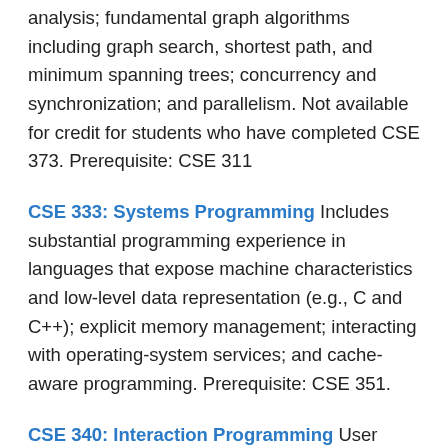analysis; fundamental graph algorithms including graph search, shortest path, and minimum spanning trees; concurrency and synchronization; and parallelism. Not available for credit for students who have completed CSE 373. Prerequisite: CSE 311
CSE 333: Systems Programming Includes substantial programming experience in languages that expose machine characteristics and low-level data representation (e.g., C and C++); explicit memory management; interacting with operating-system services; and cache-aware programming. Prerequisite: CSE 351.
CSE 340: Interaction Programming User interfaces for computing systems, including